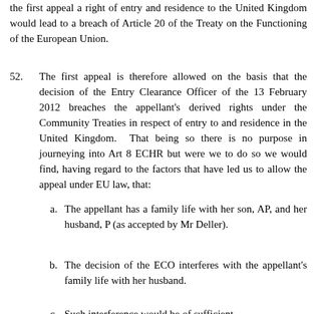the first appeal a right of entry and residence to the United Kingdom would lead to a breach of Article 20 of the Treaty on the Functioning of the European Union.
52.	The first appeal is therefore allowed on the basis that the decision of the Entry Clearance Officer of the 13 February 2012 breaches the appellant's derived rights under the Community Treaties in respect of entry to and residence in the United Kingdom. That being so there is no purpose in journeying into Art 8 ECHR but were we to do so we would find, having regard to the factors that have led us to allow the appeal under EU law, that:
a.	The appellant has a family life with her son, AP, and her husband, P (as accepted by Mr Deller).
b.	The decision of the ECO interferes with the appellant's family life with her husband.
c.	Such interference would be of sufficient...